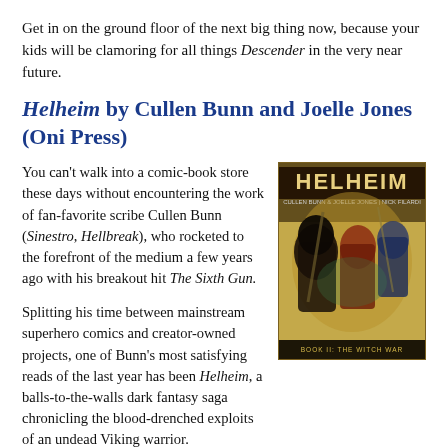Get in on the ground floor of the next big thing now, because your kids will be clamoring for all things Descender in the very near future.
Helheim by Cullen Bunn and Joelle Jones (Oni Press)
You can't walk into a comic-book store these days without encountering the work of fan-favorite scribe Cullen Bunn (Sinestro, Hellbreak), who rocketed to the forefront of the medium a few years ago with his breakout hit The Sixth Gun.
Splitting his time between mainstream superhero comics and creator-owned projects, one of Bunn's most satisfying reads of the last year has been Helheim, a balls-to-the-walls dark fantasy saga chronicling the blood-drenched exploits of an undead Viking warrior.
[Figure (illustration): Book cover of Helheim showing armored Viking warriors and undead figures in a dark fantasy style, with the title HELHEIM at the top in large letters and subtitle 'BOOK II: THE WITCH WAR' at the bottom.]
Bunn's strengths as a writer stem from his ability to come at his audiences from unexpected angles, his genre-bending versatility, and a strong narrative voice he tailors to each project. Helheim showcases all of these